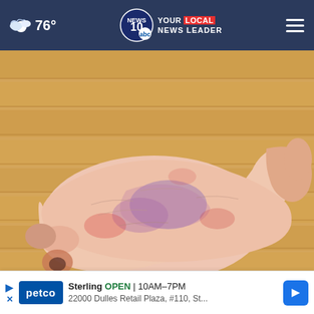76° NEWS 10 YOUR LOCAL NEWS LEADER
[Figure (photo): Close-up photograph of a human foot and ankle showing skin condition (psoriasis) with reddish-purple discoloration and scaling on a wooden floor background]
Do You Know What Plaque Psoriasis Is? (Take a Look)
Plaque Psoriasis | Search Ads
Sterling OPEN | 10AM–7PM 22000 Dulles Retail Plaza, #110, St...